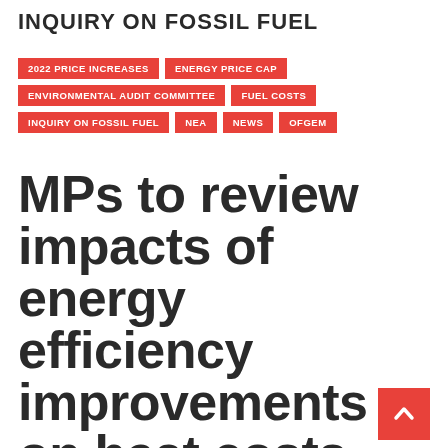INQUIRY ON FOSSIL FUEL
2022 PRICE INCREASES
ENERGY PRICE CAP
ENVIRONMENTAL AUDIT COMMITTEE
FUEL COSTS
INQUIRY ON FOSSIL FUEL
NEA
NEWS
OFGEM
MPs to review impacts of energy efficiency improvements on heat costs